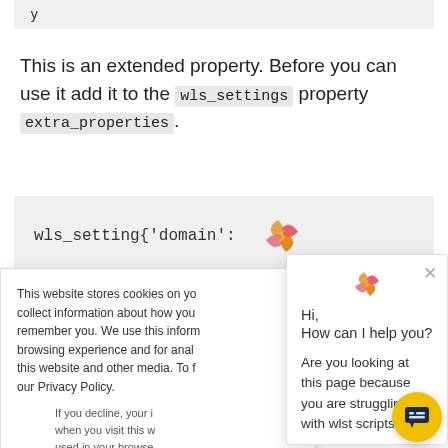y
This is an extended property. Before you can use it add it to the wls_settings property extra_properties.
wls_setting{'domain':
This website stores cookies on yo... collect information about how you... remember you. We use this inform... browsing experience and for anal... this website and other media. To f... our Privacy Policy.
If you decline, your i... when you visit this w... used in your browse... not to be tracked.
Hi,
How can I help you?

Are you looking at this page because you are struggling with wlst scripts?